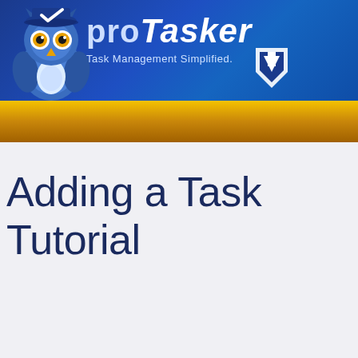[Figure (logo): proTasker logo banner with blue background, owl mascot, 'proTasker' text and 'Task Management Simplified.' tagline, with a gold/amber bar at the bottom]
Adding a Task Tutorial